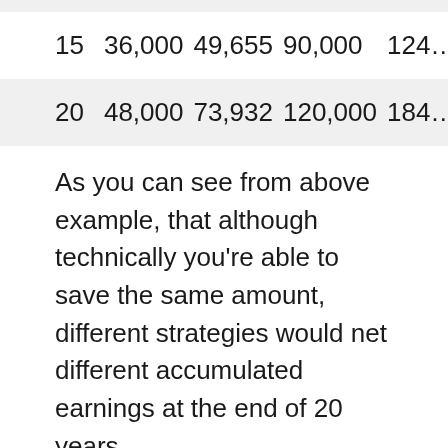| 15 | 36,000 | 49,655 | 90,000 | 124... |
| 20 | 48,000 | 73,932 | 120,000 | 184... |
As you can see from above example, that although technically you're able to save the same amount, different strategies would net different accumulated earnings at the end of 20 years.
See also  How Much Money Can You Earn Investing In FMETF
For instance, saving 1,200 every six months